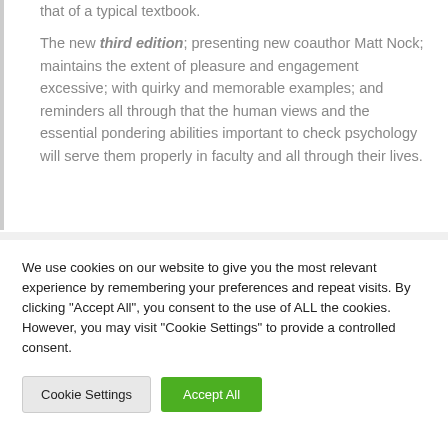that of a typical textbook. The new third edition; presenting new coauthor Matt Nock; maintains the extent of pleasure and engagement excessive; with quirky and memorable examples; and reminders all through that the human views and the essential pondering abilities important to check psychology will serve them properly in faculty and all through their lives.
We use cookies on our website to give you the most relevant experience by remembering your preferences and repeat visits. By clicking "Accept All", you consent to the use of ALL the cookies. However, you may visit "Cookie Settings" to provide a controlled consent.